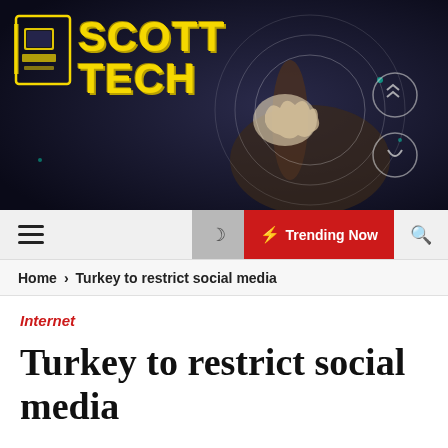[Figure (logo): Scott Tech logo with yellow text on dark tech background with glowing brain and hand imagery]
Navigation bar with hamburger menu, dark mode toggle, Trending Now button, and search icon
Home > Turkey to restrict social media
Internet
Turkey to restrict social media